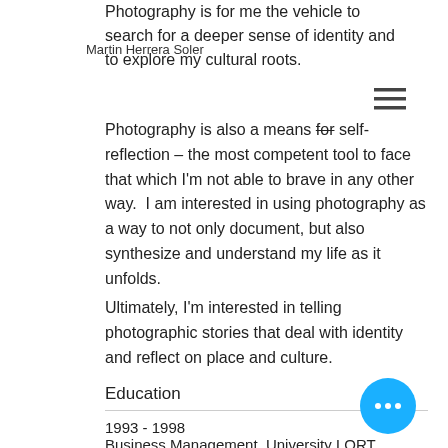Photography is for me the vehicle to search for a deeper sense of identity and to explore my cultural roots.
Martin Herrera Soler
[Figure (other): Hamburger menu icon — three horizontal lines stacked]
Photography is also a means for self-reflection – the most competent tool to face that which I'm not able to brave in any other way.  I am interested in using photography as a way to not only document, but also synthesize and understand my life as it unfolds.
Ultimately, I'm interested in telling photographic stories that deal with identity and reflect on place and culture.
Education
1993 - 1998
Business Management, University LOR T